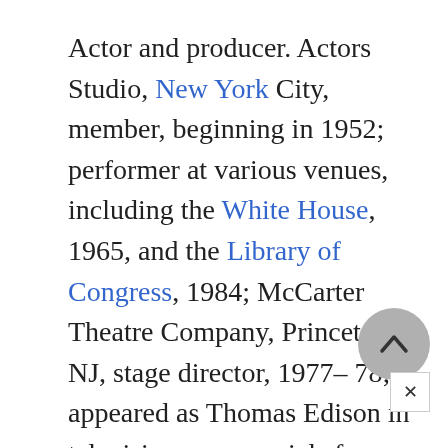Actor and producer. Actors Studio, New York City, member, beginning in 1952; performer at various venues, including the White House, 1965, and the Library of Congress, 1984; McCarter Theatre Company, Princeton, NJ, stage director, 1977–78; appeared as Thomas Edison in television commercials for General Electric. Worked as a waiter, laborer and construction worker and at a movie theatre. Military service: U.S.